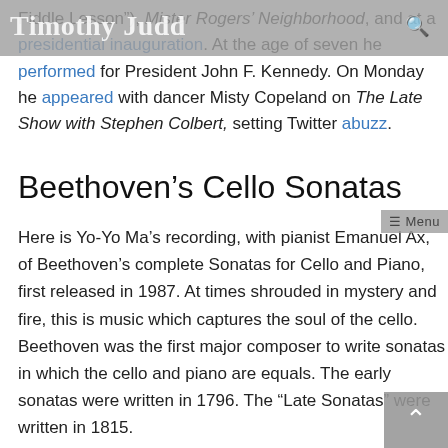Timothy Judd | MENU
Fiddle Lesson"), Mister Rogers' Neighborhood, and at a presidential inauguration. At the age of seven he performed for President John F. Kennedy. On Monday he appeared with dancer Misty Copeland on The Late Show with Stephen Colbert, setting Twitter abuzz.
Beethoven’s Cello Sonatas
Here is Yo-Yo Ma’s recording, with pianist Emanuel Ax, of Beethoven’s complete Sonatas for Cello and Piano, first released in 1987. At times shrouded in mystery and fire, this is music which captures the soul of the cello. Beethoven was the first major composer to write sonatas in which the cello and piano are equals. The early sonatas were written in 1796. The “Late Sonatas” were written in 1815.